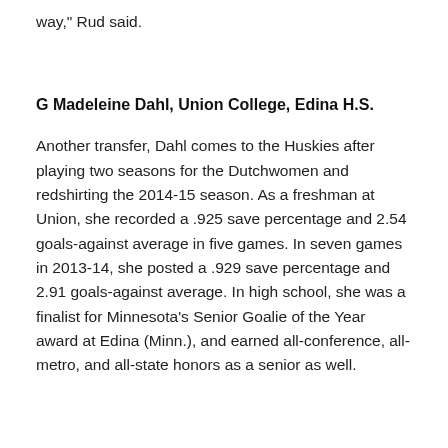way," Rud said.
G Madeleine Dahl, Union College, Edina H.S.
Another transfer, Dahl comes to the Huskies after playing two seasons for the Dutchwomen and redshirting the 2014-15 season. As a freshman at Union, she recorded a .925 save percentage and 2.54 goals-against average in five games. In seven games in 2013-14, she posted a .929 save percentage and 2.91 goals-against average. In high school, she was a finalist for Minnesota's Senior Goalie of the Year award at Edina (Minn.), and earned all-conference, all-metro, and all-state honors as a senior as well.